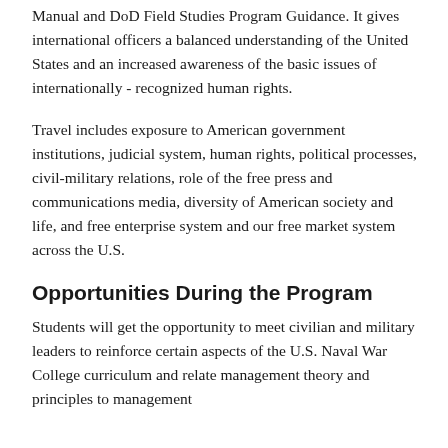Manual and DoD Field Studies Program Guidance. It gives international officers a balanced understanding of the United States and an increased awareness of the basic issues of internationally - recognized human rights.
Travel includes exposure to American government institutions, judicial system, human rights, political processes, civil-military relations, role of the free press and communications media, diversity of American society and life, and free enterprise system and our free market system across the U.S.
Opportunities During the Program
Students will get the opportunity to meet civilian and military leaders to reinforce certain aspects of the U.S. Naval War College curriculum and relate management theory and principles to management